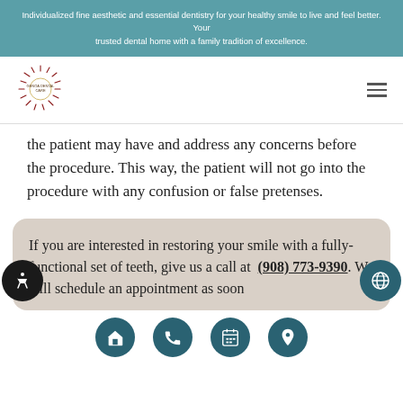Individualized fine aesthetic and essential dentistry for your healthy smile to live and feel better. Your trusted dental home with a family tradition of excellence.
[Figure (logo): Genoa Dental Care logo with starburst/sun design in dark red and gold tones]
the patient may have and address any concerns before the procedure. This way, the patient will not go into the procedure with any confusion or false pretenses.
If you are interested in restoring your smile with a fully-functional set of teeth, give us a call at (908) 773-9390. We will schedule an appointment as soon